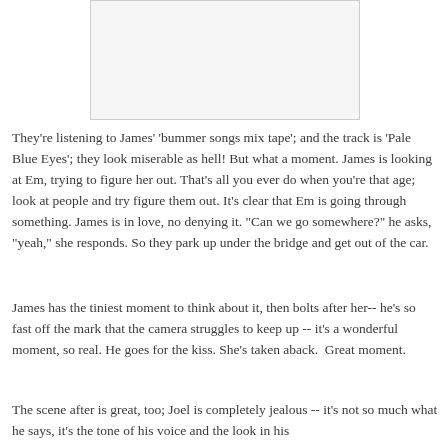[Figure (other): A rectangular image placeholder, light gray background with border]
They're listening to James' 'bummer songs mix tape'; and the track is 'Pale Blue Eyes'; they look miserable as hell! But what a moment. James is looking at Em, trying to figure her out. That's all you ever do when you're that age; look at people and try figure them out. It's clear that Em is going through something. James is in love, no denying it. "Can we go somewhere?" he asks, "yeah," she responds. So they park up under the bridge and get out of the car.
James has the tiniest moment to think about it, then bolts after her-- he's so fast off the mark that the camera struggles to keep up -- it's a wonderful moment, so real. He goes for the kiss. She's taken aback.  Great moment.
The scene after is great, too; Joel is completely jealous -- it's not so much what he says, it's the tone of his voice and the look in his